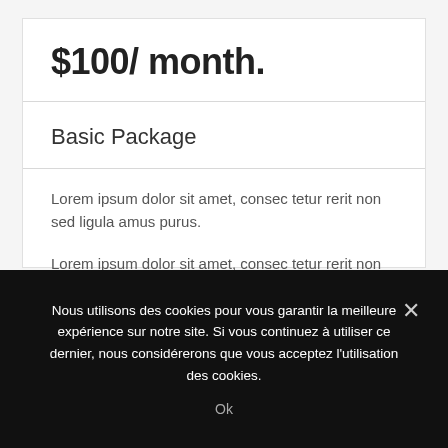$100/ month.
Basic Package
Lorem ipsum dolor sit amet, consec tetur rerit non sed ligula amus purus.
Lorem ipsum dolor sit amet, consec tetur rerit non sed ligula amus purus.
Nous utilisons des cookies pour vous garantir la meilleure expérience sur notre site. Si vous continuez à utiliser ce dernier, nous considérerons que vous acceptez l'utilisation des cookies.
Ok